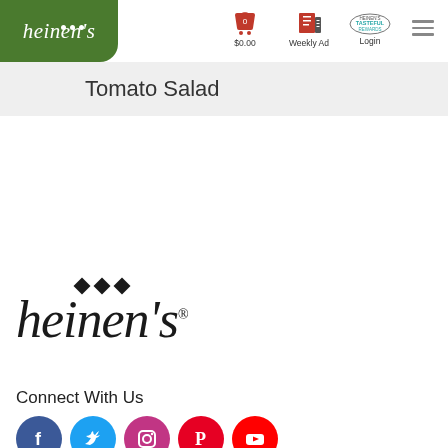heinen's — $0.00 Weekly Ad Login
Tomato Salad
[Figure (logo): Heinen's grocery store logo — large italic serif wordmark 'heinen's' with three diamond shapes above, in black]
Connect With Us
[Figure (infographic): Social media icons: Facebook (blue), Twitter (light blue), Instagram (purple/magenta), Pinterest (red), YouTube (red)]